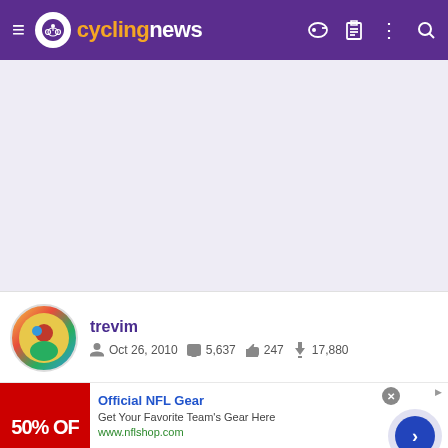cyclingnews
[Figure (screenshot): Large light gray/white content area, likely an ad or article loading placeholder]
trevim
Oct 26, 2010  5,637  247  17,880
[Figure (photo): User avatar photo of person with colorful background]
Official NFL Gear
Get Your Favorite Team's Gear Here
www.nflshop.com